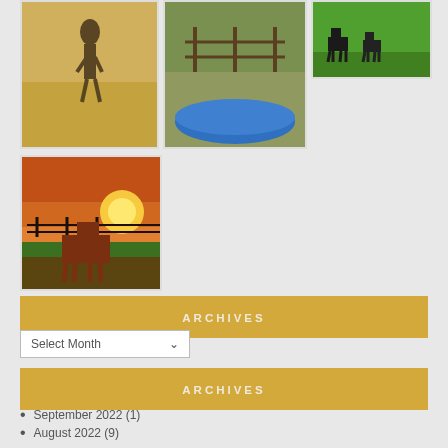[Figure (photo): Three farm/ranch photos showing cattle and pasture scenes arranged in a grid]
ARCHIVES
Select Month (dropdown)
ARCHIVES
September 2022 (1)
August 2022 (9)